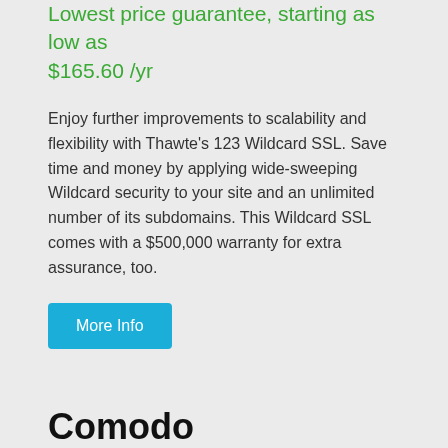Lowest price guarantee, starting as low as $165.60 /yr
Enjoy further improvements to scalability and flexibility with Thawte's 123 Wildcard SSL. Save time and money by applying wide-sweeping Wildcard security to your site and an unlimited number of its subdomains. This Wildcard SSL comes with a $500,000 warranty for extra assurance, too.
More Info
Comodo PremiumSSL Wildcard Certificate
Lowest price guarantee, starting as low as $101.80 /yr